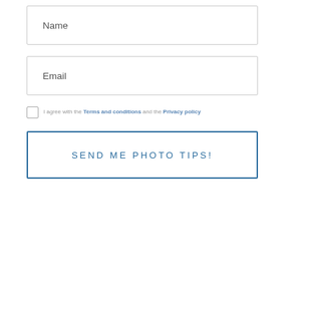Name
Email
I agree with the Terms and conditions and the Privacy policy
SEND ME PHOTO TIPS!